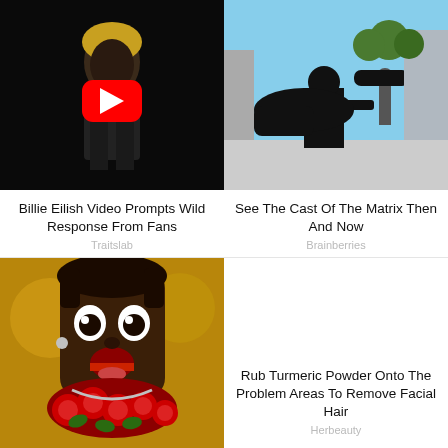[Figure (photo): Dark YouTube video thumbnail showing a person, with YouTube play button overlay - Billie Eilish video]
[Figure (photo): Action scene from The Matrix movie showing a person in black coat doing a kick on a rooftop]
Billie Eilish Video Prompts Wild Response From Fans
See The Cast Of The Matrix Then And Now
Traitslab
Brainberries
[Figure (photo): Person with wide eyes and open mouth wearing red roses costume]
Rub Turmeric Powder Onto The Problem Areas To Remove Facial Hair
Herbeauty